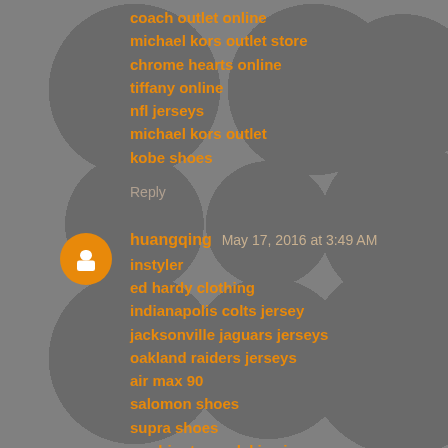coach outlet online
michael kors outlet store
chrome hearts online
tiffany online
nfl jerseys
michael kors outlet
kobe shoes
Reply
huangqing May 17, 2016 at 3:49 AM
instyler
ed hardy clothing
indianapolis colts jersey
jacksonville jaguars jerseys
oakland raiders jerseys
air max 90
salomon shoes
supra shoes
washington redskins jersey
abercrombie and fitch
cleveland browns jerseys